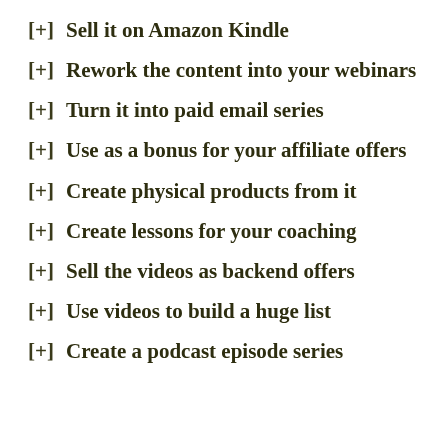[+]  Sell it on Amazon Kindle
[+]  Rework the content into your webinars
[+]  Turn it into paid email series
[+]  Use as a bonus for your affiliate offers
[+]  Create physical products from it
[+]  Create lessons for your coaching
[+]  Sell the videos as backend offers
[+]  Use videos to build a huge list
[+]  Create a podcast episode series